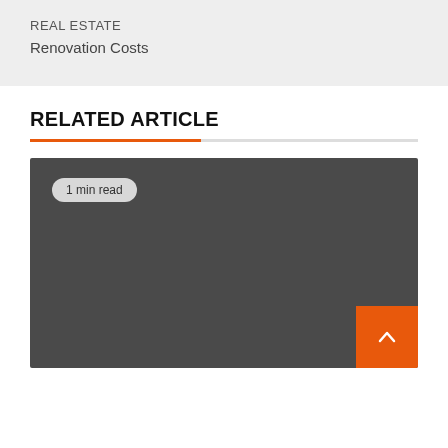REAL ESTATE
Renovation Costs
RELATED ARTICLE
[Figure (other): Dark grey article card with a '1 min read' badge in the top-left corner and an orange scroll-to-top button in the bottom-right corner.]